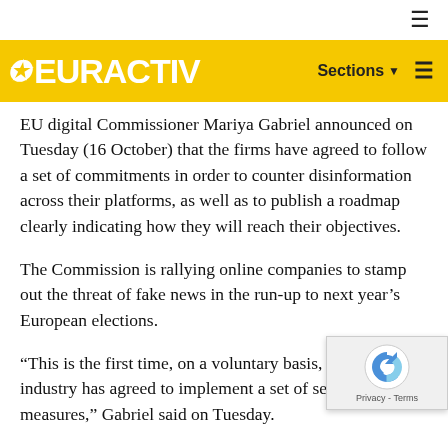[Figure (logo): EURACTIV logo on yellow navigation bar with Sections and hamburger menu]
EU digital Commissioner Mariya Gabriel announced on Tuesday (16 October) that the firms have agreed to follow a set of commitments in order to counter disinformation across their platforms, as well as to publish a roadmap clearly indicating how they will reach their objectives.
The Commission is rallying online companies to stamp out the threat of fake news in the run-up to next year's European elections.
“This is the first time, on a voluntary basis, that the industry has agreed to implement a set of self-regulated measures,” Gabriel said on Tuesday.
“The signatories have also included a set of specific